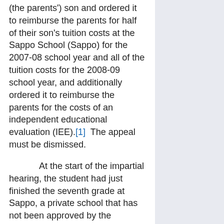(the parents') son and ordered it to reimburse the parents for half of their son's tuition costs at the Sappo School (Sappo) for the 2007-08 school year and all of the tuition costs for the 2008-09 school year, and additionally ordered it to reimburse the parents for the costs of an independent educational evaluation (IEE).[1]  The appeal must be dismissed.
At the start of the impartial hearing, the student had just finished the seventh grade at Sappo, a private school that has not been approved by the Commissioner of Education as a school with which districts may contract to instruct students with disabilities (Parent Ex. A; see 8 NYCRR 200.1[d], 200.7).  The student had received diagnoses of an attention deficit hyperactivity disorder (ADHD)